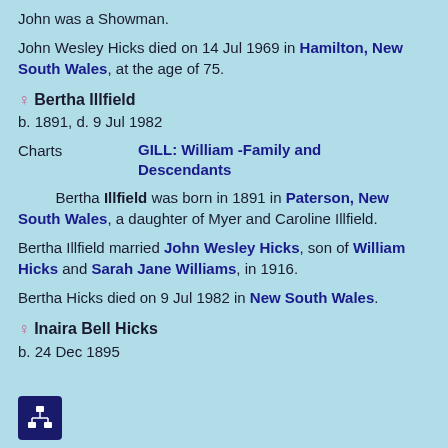John was a Showman.
John Wesley Hicks died on 14 Jul 1969 in Hamilton, New South Wales, at the age of 75.
♀ Bertha Illfield
b. 1891, d. 9 Jul 1982
Charts   GILL: William -Family and Descendants
Bertha Illfield was born in 1891 in Paterson, New South Wales, a daughter of Myer and Caroline Illfield.
Bertha Illfield married John Wesley Hicks, son of William Hicks and Sarah Jane Williams, in 1916.
Bertha Hicks died on 9 Jul 1982 in New South Wales.
♀ Inaira Bell Hicks
b. 24 Dec 1895
[Figure (other): Dark blue icon box with organizational chart symbol (white boxes connected by lines)]